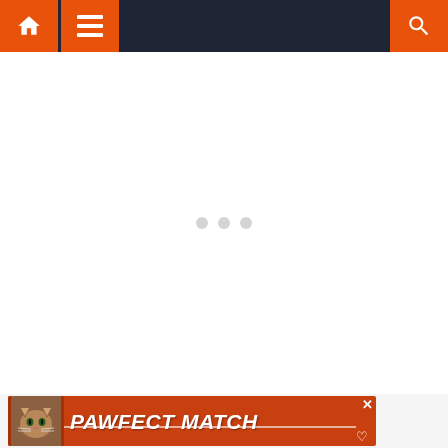Navigation bar with home, menu, and search icons
[Figure (screenshot): Main content area — mostly blank white with three small grey loading dots in the center]
[Figure (infographic): Advertisement banner for PAWFECT MATCH featuring a cat photo on orange/red background with close button and heart icon]